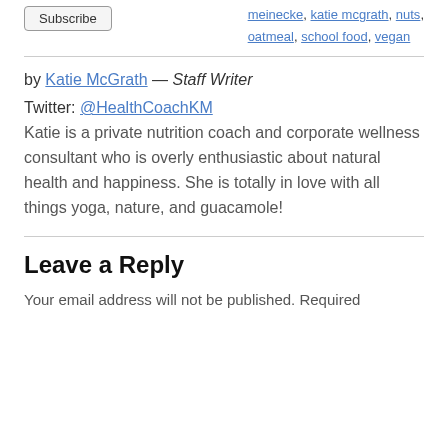Subscribe
meinecke, katie mcgrath, nuts, oatmeal, school food, vegan
by Katie McGrath — Staff Writer
Twitter: @HealthCoachKM
Katie is a private nutrition coach and corporate wellness consultant who is overly enthusiastic about natural health and happiness. She is totally in love with all things yoga, nature, and guacamole!
Leave a Reply
Your email address will not be published. Required